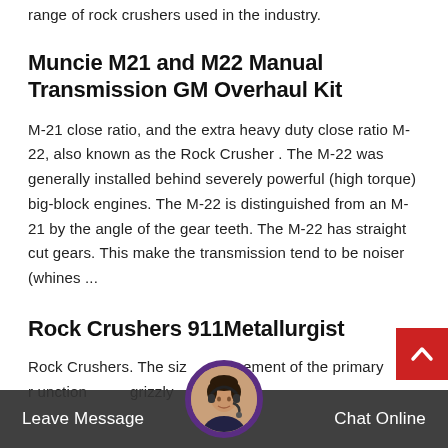range of rock crushers used in the industry.
Muncie M21 and M22 Manual Transmission GM Overhaul Kit
M-21 close ratio, and the extra heavy duty close ratio M-22, also known as the Rock Crusher . The M-22 was generally installed behind severely powerful (high torque) big-block engines. The M-22 is distinguished from an M-21 by the angle of the gear teeth. The M-22 has straight cut gears. This make the transmission tend to be noiser (whines ...
Rock Crushers 911Metallurgist
Rock Crushers. The siz ement of the primary unction grizzly chute configuration required throughou...
Leave Message  Chat Online